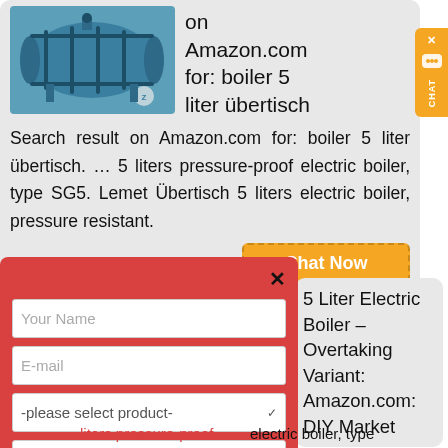[Figure (screenshot): Screenshot of a search result page showing a blue industrial boiler image on Amazon.com for 'boiler 5 liter übertisch', with a chat widget sidebar, a popup contact form with fields for name, email, product selection, capacity, and submit button, and a second search result card for '5 Liter Electric Boiler – Overtaking Variant: Amazon.com: DIY Market'.]
on Amazon.com for: boiler 5 liter übertisch
Search result on Amazon.com for: boiler 5 liter übertisch. … 5 liters pressure-proof electric boiler, type SG5. Lemet Übertisch 5 liters electric boiler, pressure resistant.
Chat Now
5 Liter Electric Boiler – Overtaking Variant: Amazon.com: DIY Market
liters pressure-proof electric boiler, type